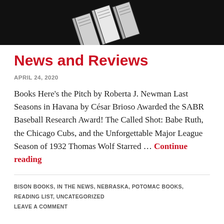[Figure (illustration): Black background with line-art illustration of angled books/newspapers in white and gray]
News and Reviews
APRIL 24, 2020
Books Here's the Pitch by Roberta J. Newman Last Seasons in Havana by César Brioso Awarded the SABR Baseball Research Award! The Called Shot: Babe Ruth, the Chicago Cubs, and the Unforgettable Major League Season of 1932 Thomas Wolf Starred … Continue reading
BISON BOOKS, IN THE NEWS, NEBRASKA, POTOMAC BOOKS, READING LIST, UNCATEGORIZED
LEAVE A COMMENT